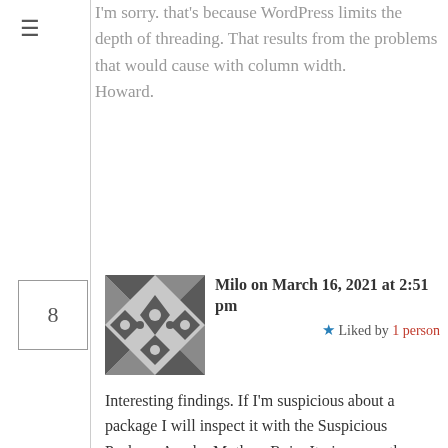I'm sorry. that's because WordPress limits the depth of threading. That results from the problems that would cause with column width.
Howard.
8
Milo on March 16, 2021 at 2:51 pm
★ Liked by 1 person
Interesting findings. If I'm suspicious about a package I will inspect it with the Suspicious Package App by Mothers Ruin. It gives you the opportunity to check the files that will be copied as well as the included scripts. It also has some heuristics to warn you about possible problems. It didn't complain about the curl statement though, which